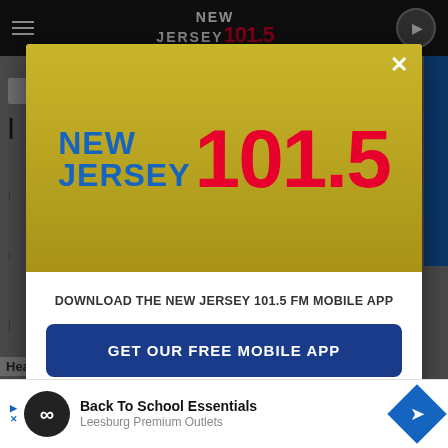[Figure (screenshot): New Jersey 101.5 radio station website screenshot showing a modal popup overlay. The modal has a yellow/gold header with the New Jersey 101.5 logo (blue text 'NEW JERSEY' and red '101.5'), a white body with text 'DOWNLOAD THE NEW JERSEY 101.5 FM MOBILE APP', a dark blue 'GET OUR FREE MOBILE APP' button, and 'Also listen on: amazon alexa' text. At the bottom is an advertisement banner for 'Back To School Essentials' at 'Leesburg Premium Outlets'. The background shows the dimmed radio station website with a black navigation bar at top.]